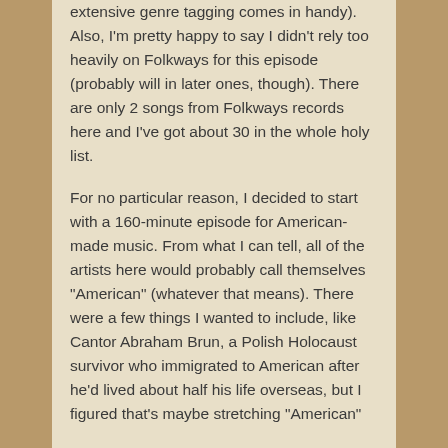extensive genre tagging comes in handy). Also, I'm pretty happy to say I didn't rely too heavily on Folkways for this episode (probably will in later ones, though). There are only 2 songs from Folkways records here and I've got about 30 in the whole holy list.
For no particular reason, I decided to start with a 160-minute episode for American-made music. From what I can tell, all of the artists here would probably call themselves "American" (whatever that means). There were a few things I wanted to include, like Cantor Abraham Brun, a Polish Holocaust survivor who immigrated to American after he'd lived about half his life overseas, but I figured that's maybe stretching "American"